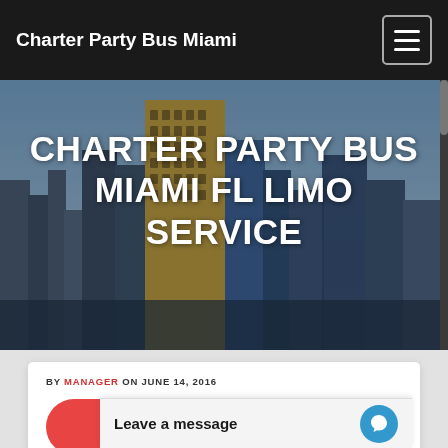Charter Party Bus Miami
[Figure (photo): Miami city skyline at dusk with tall buildings lit up against a blue-gray sky, used as hero background image]
CHARTER PARTY BUS MIAMI FL LIMO SERVICE
BY MANAGER ON JUNE 14, 2016
Call Now 30...